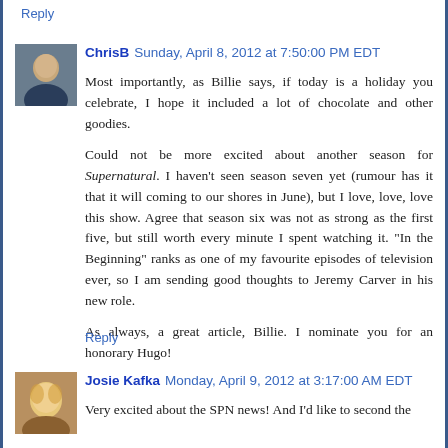Reply
ChrisB  Sunday, April 8, 2012 at 7:50:00 PM EDT
Most importantly, as Billie says, if today is a holiday you celebrate, I hope it included a lot of chocolate and other goodies.

Could not be more excited about another season for Supernatural. I haven't seen season seven yet (rumour has it that it will coming to our shores in June), but I love, love, love this show. Agree that season six was not as strong as the first five, but still worth every minute I spent watching it. "In the Beginning" ranks as one of my favourite episodes of television ever, so I am sending good thoughts to Jeremy Carver in his new role.

As always, a great article, Billie. I nominate you for an honorary Hugo!
Reply
Josie Kafka  Monday, April 9, 2012 at 3:17:00 AM EDT
Very excited about the SPN news! And I'd like to second the